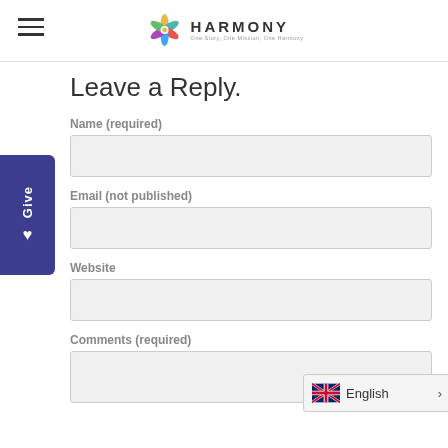HARMONY
Leave a Reply.
Name (required)
Email (not published)
Website
Comments (required)